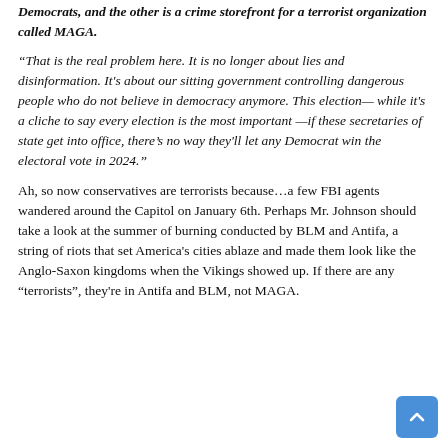Democrats, and the other is a crime storefront for a terrorist organization called MAGA.
“That is the real problem here. It is no longer about lies and disinformation. It's about our sitting government controlling dangerous people who do not believe in democracy anymore. This election— while it's a cliche to say every election is the most important —if these secretaries of state get into office, there’s no way they'll let any Democrat win the electoral vote in 2024.”
Ah, so now conservatives are terrorists because…a few FBI agents wandered around the Capitol on January 6th. Perhaps Mr. Johnson should take a look at the summer of burning conducted by BLM and Antifa, a string of riots that set America's cities ablaze and made them look like the Anglo-Saxon kingdoms when the Vikings showed up. If there are any “terrorists”, they're in Antifa and BLM, not MAGA.